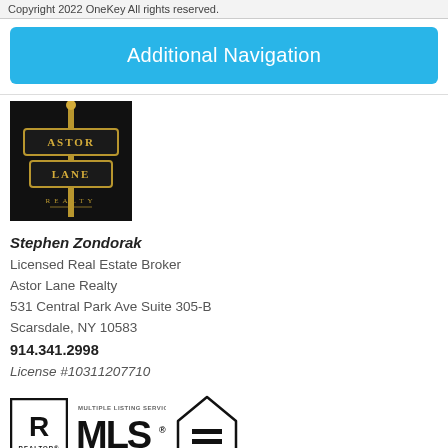Copyright 2022 OneKey All rights reserved.
Additional Navigation
[Figure (logo): Astor Lane Realty logo — gold street sign style on black background with text ASTOR LANE REALTY]
Stephen Zondorak
Licensed Real Estate Broker
Astor Lane Realty
531 Central Park Ave Suite 305-B
Scarsdale, NY 10583
914.341.2998
License #10311207710
[Figure (logo): REALTOR, MLS, and Equal Housing Opportunity logos]